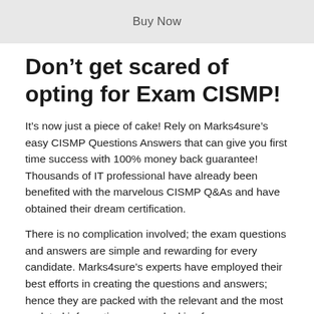Buy Now
Don’t get scared of opting for Exam CISMP!
It’s now just a piece of cake! Rely on Marks4sure’s easy CISMP Questions Answers that can give you first time success with 100% money back guarantee! Thousands of IT professional have already been benefited with the marvelous CISMP Q&As and have obtained their dream certification.
There is no complication involved; the exam questions and answers are simple and rewarding for every candidate. Marks4sure’s experts have employed their best efforts in creating the questions and answers; hence they are packed with the relevant and the most updated information you are looking for.
Equally amazing are Marks4sure’s CISMP dumps. They focus only the utmost important portions of your exam and equip you with the best possible information in an interactive and easy to understand language. Think of boosting up your career with this time-tested and the most reliable exam passing formula, CISMP braindumps...